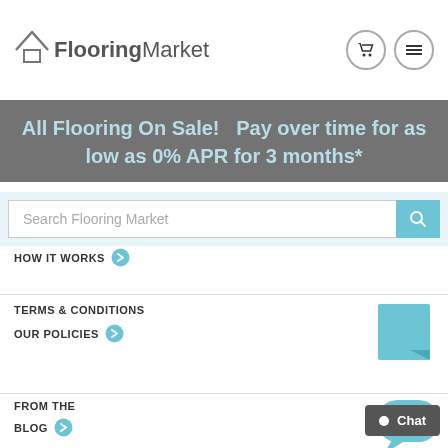[Figure (logo): FlooringMarket logo with house icon, bold 'Flooring' and regular 'Market' text, cart and menu icons top right]
All Flooring On Sale!   Pay over time for as low as 0% APR for 3 months*
Search Flooring Market
HOW IT WORKS
TERMS & CONDITIONS
OUR POLICIES
FROM THE
BLOG
Chat